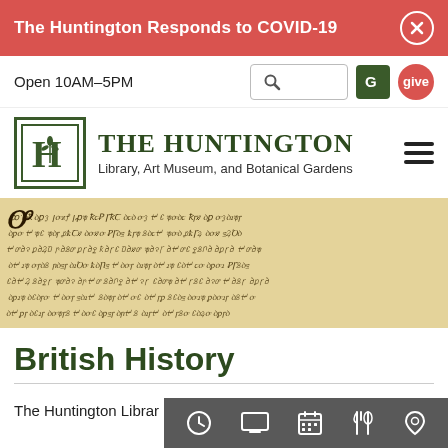The Huntington Responds to COVID-19
Open 10AM–5PM
[Figure (logo): The Huntington Library, Art Museum, and Botanical Gardens logo with green H emblem]
[Figure (photo): Manuscript page with medieval handwritten text on aged parchment]
British History
The Huntington Librar